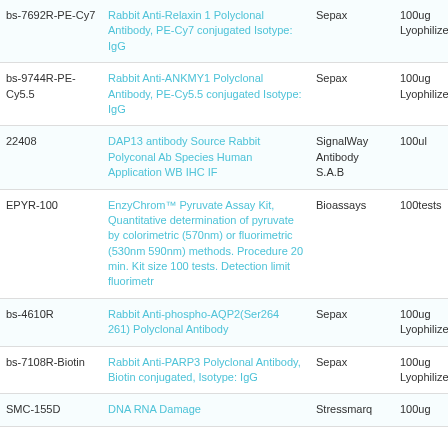| Code | Name | Vendor | Size | Price |
| --- | --- | --- | --- | --- |
| bs-7692R-PE-Cy7 | Rabbit Anti-Relaxin 1 Polyclonal Antibody, PE-Cy7 conjugated Isotype: IgG | Sepax | 100ug Lyophilized | 300. |
| bs-9744R-PE-Cy5.5 | Rabbit Anti-ANKMY1 Polyclonal Antibody, PE-Cy5.5 conjugated Isotype: IgG | Sepax | 100ug Lyophilized | 300. |
| 22408 | DAP13 antibody Source Rabbit Polyconal Ab Species Human Application WB IHC IF | SignalWay Antibody S.A.B | 100ul | 329. |
| EPYR-100 | EnzyChrom™ Pyruvate Assay Kit, Quantitative determination of pyruvate by colorimetric (570nm) or fluorimetric (530nm 590nm) methods. Procedure 20 min. Kit size 100 tests. Detection limit fluorimetr | Bioassays | 100tests | 316. |
| bs-4610R | Rabbit Anti-phospho-AQP2(Ser264 261) Polyclonal Antibody | Sepax | 100ug Lyophilized | 241. |
| bs-7108R-Biotin | Rabbit Anti-PARP3 Polyclonal Antibody, Biotin conjugated, Isotype: IgG | Sepax | 100ug Lyophilized | 268. |
| SMC-155D | DNA RNA Damage | Stressmarq | 100ug | 277. |